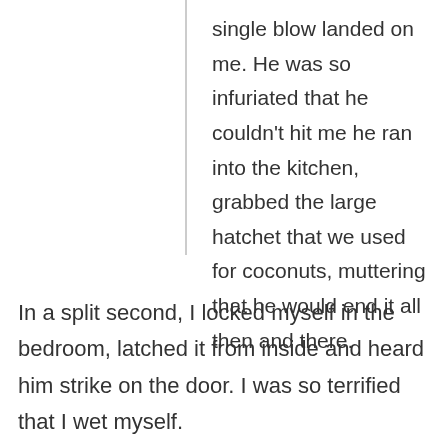single blow landed on me. He was so infuriated that he couldn't hit me he ran into the kitchen, grabbed the large hatchet that we used for coconuts, muttering that he would end it all then and there.
In a split second, I locked myself in the bedroom, latched it from inside and heard him strike on the door. I was so terrified that I wet myself.